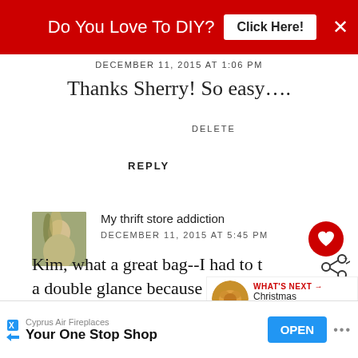[Figure (screenshot): Red banner ad reading 'Do You Love To DIY? Click Here!' with a close X button]
DECEMBER 11, 2015 AT 1:06 PM
Thanks Sherry! So easy….
DELETE
REPLY
[Figure (photo): Commenter avatar showing a person with blonde/dark hair]
My thrift store addiction
DECEMBER 11, 2015 AT 5:45 PM
Kim, what a great bag--I had to take a double glance because it just didn't look like one! Great sig… Cecilia
[Figure (screenshot): What's Next panel showing Christmas Bedroom... with a lion/animal image]
[Figure (screenshot): Advertisement for Cyprus Air Fireplaces - Your One Stop Shop with OPEN button]